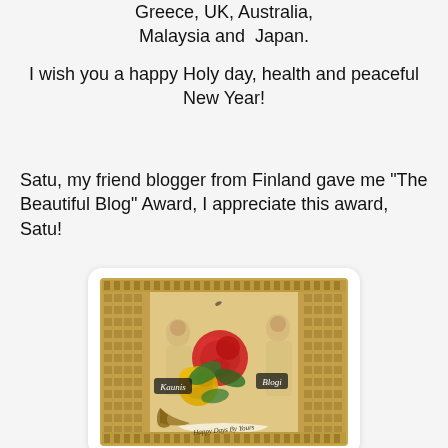Greece, UK, Australia, Malaysia and Japan.
I wish you a happy Holy day, health and peaceful New Year!
Satu, my friend blogger from Finland gave me "The Beautiful Blog" Award, I appreciate this award, Satu!
[Figure (illustration): Vintage ornate award card with classical figures, colorful roses (red and yellow), and text reading 'Kaunis' on the left, 'Blogi' on the right, and a banner at the bottom reading 'Happy Days By Yours'.]